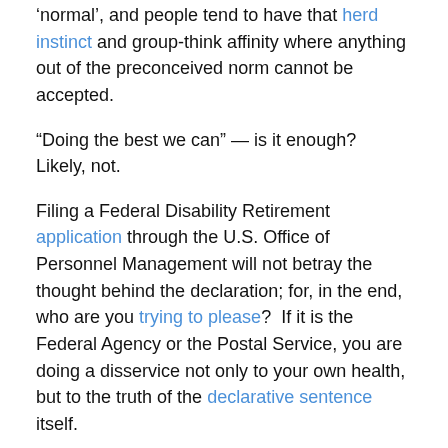‘normal’, and people tend to have that herd instinct and group-think affinity where anything out of the preconceived norm cannot be accepted.
“Doing the best we can” — is it enough?  Likely, not.
Filing a Federal Disability Retirement application through the U.S. Office of Personnel Management will not betray the thought behind the declaration; for, in the end, who are you trying to please?  If it is the Federal Agency or the Postal Service, you are doing a disservice not only to your own health, but to the truth of the declarative sentence itself.
Sincerely,
Robert R. McGill, Esquire
Postal & Federal Employee Disability Attorney